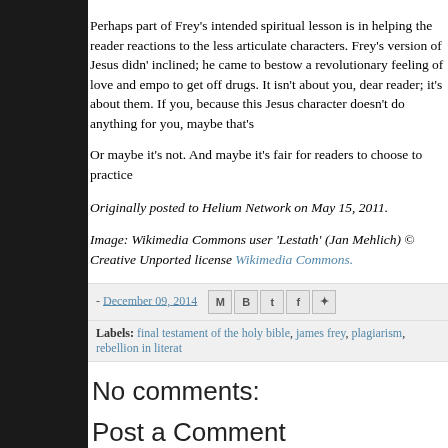Perhaps part of Frey's intended spiritual lesson is in helping the reader reactions to the less articulate characters. Frey's version of Jesus didn' inclined; he came to bestow a revolutionary feeling of love and empo to get off drugs. It isn't about you, dear reader; it's about them. If you, because this Jesus character doesn't do anything for you, maybe that's
Or maybe it's not. And maybe it's fair for readers to choose to practice
Originally posted to Helium Network on May 15, 2011.
Image: Wikimedia Commons user 'Lestath' (Jan Mehlich) © Creative Unported license Wikimedia Commons.
- December 09, 2014
Labels: final testament of the holy bible, james frey, plagiarism, rebellion in literat
No comments:
Post a Comment